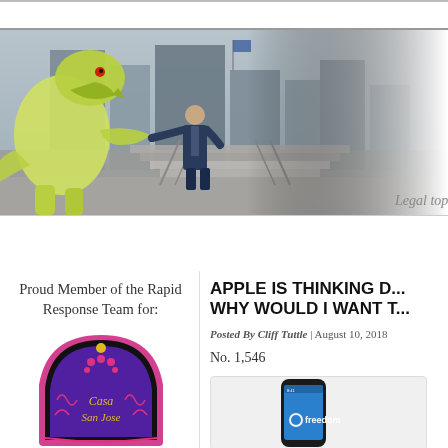[Figure (photo): Banner photo showing a person in a suit standing in front of large outdoor steps with railings and city buildings in the background, and a large green dinosaur statue to the left. The image fades to white on the right side.]
Legal top
Proud Member of the Rapid Response Team for:
[Figure (logo): Casa San Jose logo: a gothic arch shape in purple and pink with decorative scrollwork and flowers, with 'Casa San Jose' text in gold script on a purple background.]
APPLE IS THINKING D... WHY WOULD I WANT T...
Posted By Cliff Tuttle | August 10, 2018
No. 1,546
[Figure (photo): Partial image of a smartphone (iPhone-style) showing a blue screen with the word 'freedom' and a circular logo, displayed in a light gray rounded rectangle card.]